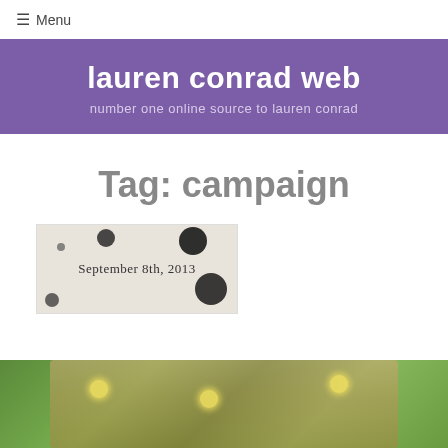☰ Menu
lauren conrad web
number one online source to lauren conrad
Tag: campaign
[Figure (photo): Blog post thumbnail with ink blot/watercolor background and date overlay reading 'September 8th, 2013']
[Figure (photo): Bottom cropped photo showing string lights hanging over green foliage/outdoor scene]